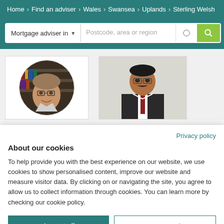Home > Find an adviser > Wales > Swansea > Uplands > Sterling Welsh
[Figure (screenshot): Search bar with 'Mortgage adviser in' dropdown and 'Postcode, area or region' input field, location icon, and green search button]
[Figure (photo): Two adviser profile photos: left shows a man with glasses in a circular crop against a bookshelf background; right shows a man in a suit against a plain background]
Privacy policy
About our cookies
To help provide you with the best experience on our website, we use cookies to show personalised content, improve our website and measure visitor data. By clicking on or navigating the site, you agree to allow us to collect information through cookies. You can learn more by checking our cookie policy.
Accept all
Manage settings